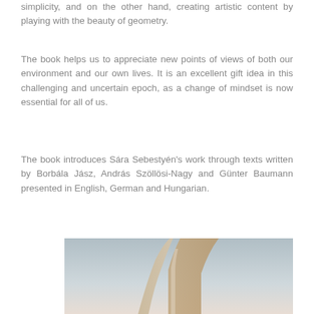simplicity, and on the other hand, creating artistic content by playing with the beauty of geometry.
The book helps us to appreciate new points of views of both our environment and our own lives. It is an excellent gift idea in this challenging and uncertain epoch, as a change of mindset is now essential for all of us.
The book introduces Sára Sebestyén's work through texts written by Borbála Jász, András Szöllösi-Nagy and Günter Baumann presented in English, German and Hungarian.
[Figure (photo): Photograph of an architectural or sculptural form with geometric curved and flat surfaces in beige/tan tones against a soft blue-grey sky background.]